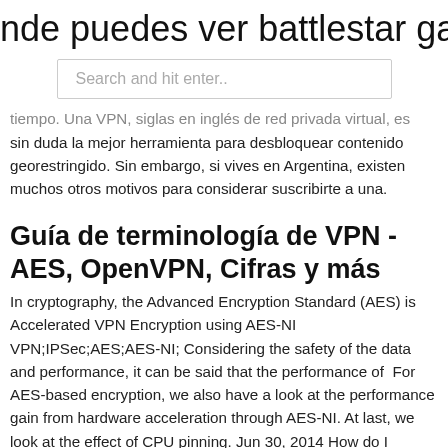nde puedes ver battlestar galactica g
[Figure (other): Search input field with placeholder text 'Search and hit enter..']
tiempo. Una VPN, siglas en inglés de red privada virtual, es sin duda la mejor herramienta para desbloquear contenido georestringido. Sin embargo, si vives en Argentina, existen muchos otros motivos para considerar suscribirte a una.
Guía de terminología de VPN - AES, OpenVPN, Cifras y más
In cryptography, the Advanced Encryption Standard (AES) is Accelerated VPN Encryption using AES-NI VPN;IPSec;AES;AES-NI; Considering the safety of the data and performance, it can be said that the performance of  For AES-based encryption, we also have a look at the performance gain from hardware acceleration through AES-NI. At last, we look at the effect of CPU pinning. Jun 30, 2014 How do I change the default encryption method from 3DES to AES in phase 1 and 2 of the RAP VPN tunnel? What is encryption and how does it keep my VPN secure? Right now, the AES algorithms and SHA256 and SHA512 are among the